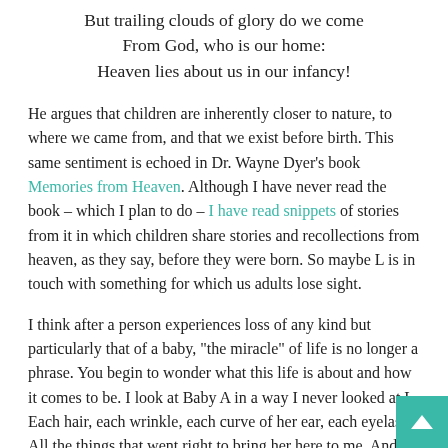But trailing clouds of glory do we come
From God, who is our home:
Heaven lies about us in our infancy!
He argues that children are inherently closer to nature, to where we came from, and that we exist before birth. This same sentiment is echoed in Dr. Wayne Dyer's book Memories from Heaven. Although I have never read the book – which I plan to do – I have read snippets of stories from it in which children share stories and recollections from heaven, as they say, before they were born. So maybe L is in touch with something for which us adults lose sight.
I think after a person experiences loss of any kind but particularly that of a baby, "the miracle" of life is no longer a phrase. You begin to wonder what this life is about and how it comes to be. I look at Baby A in a way I never looked at L. Each hair, each wrinkle, each curve of her ear, each eyelash. All the things that went right to bring her here to me. And maybe that is the point. For all that can go wrong, there are